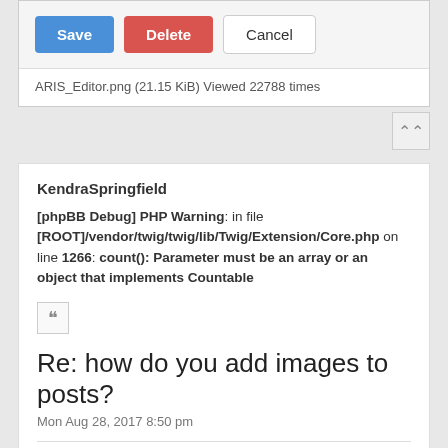[Figure (screenshot): UI buttons: Save (blue), Delete (red), Cancel (white/outlined)]
ARIS_Editor.png (21.15 KiB) Viewed 22788 times
KendraSpringfield
[phpBB Debug] PHP Warning: in file [ROOT]/vendor/twig/twig/lib/Twig/Extension/Core.php on line 1266: count(): Parameter must be an array or an object that implements Countable
[Figure (screenshot): Quote button icon (double quotation marks)]
Re: how do you add images to posts?
Mon Aug 28, 2017 8:50 pm
Thanks for this! It helps! I'm actually trying to figure it out but to no avail. 😄